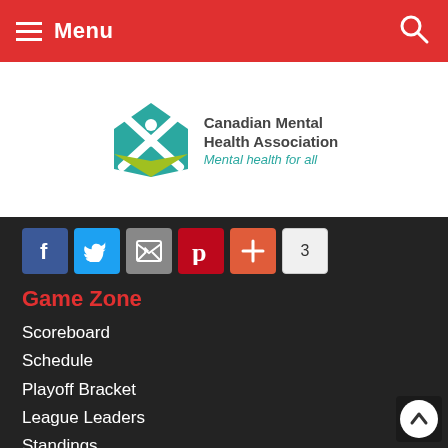Menu
[Figure (logo): Canadian Mental Health Association logo with teal envelope/X icon, text 'Canadian Mental Health Association' and tagline 'Mental health for all']
[Figure (infographic): Social sharing icons: Facebook, Twitter, Email, Pinterest, Plus, and count badge showing 3]
Game Zone
Scoreboard
Schedule
Playoff Bracket
League Leaders
Standings
League Info
About Us